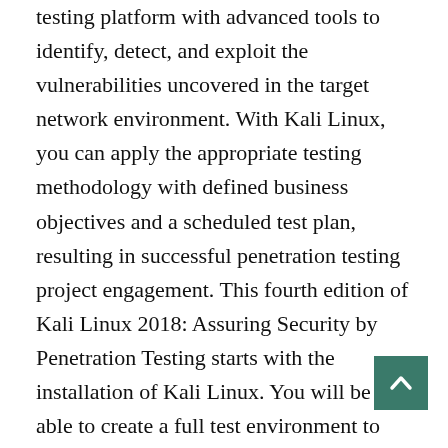testing platform with advanced tools to identify, detect, and exploit the vulnerabilities uncovered in the target network environment. With Kali Linux, you can apply the appropriate testing methodology with defined business objectives and a scheduled test plan, resulting in successful penetration testing project engagement. This fourth edition of Kali Linux 2018: Assuring Security by Penetration Testing starts with the installation of Kali Linux. You will be able to create a full test environment to safely practice scanning, vulnerability assessment, and exploitation. You'll explore the essentials of penetration testing by collecting relevant data on the target network with the use of several footprinting and discovery tools. As you make your way through the chapters, you'll focus on specific hosts and services via scanning and run vulnerability scans to discover various risks and threats within the target, which can then be exploited. In the